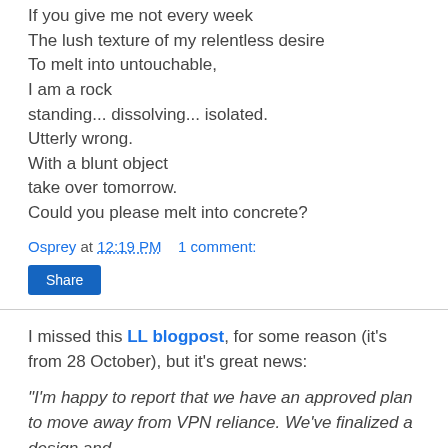If you give me not every week
The lush texture of my relentless desire
To melt into untouchable,
I am a rock
standing... dissolving... isolated.
Utterly wrong.
With a blunt object
take over tomorrow.
Could you please melt into concrete?
Osprey at 12:19 PM    1 comment:
Share
I missed this LL blogpost, for some reason (it's from 28 October), but it's great news:
"I'm happy to report that we have an approved plan to move away from VPN reliance. We've finalized a design and